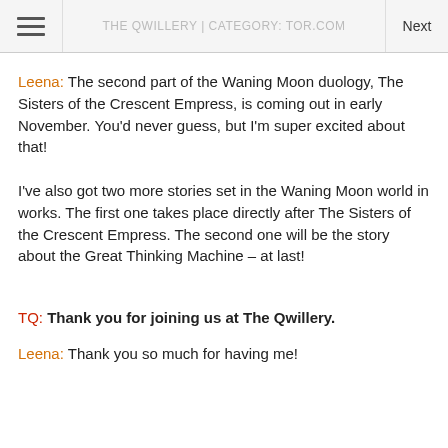THE QWILLERY | CATEGORY: TOR.COM
Leena: The second part of the Waning Moon duology, The Sisters of the Crescent Empress, is coming out in early November. You'd never guess, but I'm super excited about that!
I've also got two more stories set in the Waning Moon world in works. The first one takes place directly after The Sisters of the Crescent Empress. The second one will be the story about the Great Thinking Machine – at last!
TQ: Thank you for joining us at The Qwillery.
Leena: Thank you so much for having me!